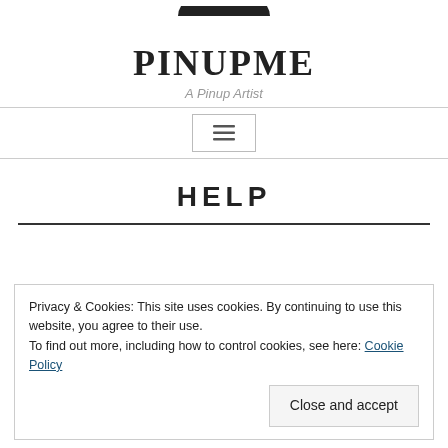[Figure (logo): Partial logo at top of page, dark shape]
PINUPME
A Pinup Artist
[Figure (other): Navigation bar with hamburger menu icon]
HELP
Privacy & Cookies: This site uses cookies. By continuing to use this website, you agree to their use.
To find out more, including how to control cookies, see here: Cookie Policy